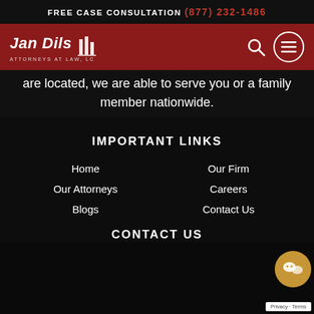FREE CASE CONSULTATION (877) 232-1486
[Figure (logo): Jan Dils Attorneys at Law, LC logo on red background with search and menu icons]
are located, we are able to serve you or a family member nationwide.
IMPORTANT LINKS
Home
Our Firm
Our Attorneys
Careers
Blogs
Contact Us
CONTACT US